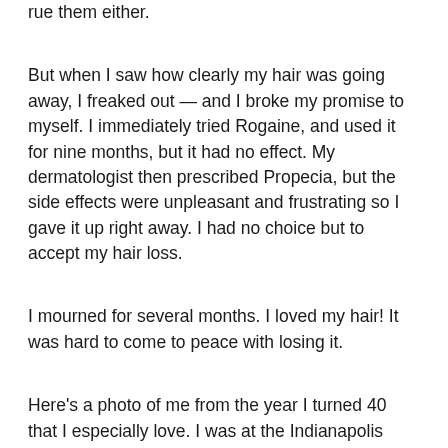rue them either.
But when I saw how clearly my hair was going away, I freaked out — and I broke my promise to myself. I immediately tried Rogaine, and used it for nine months, but it had no effect. My dermatologist then prescribed Propecia, but the side effects were unpleasant and frustrating so I gave it up right away. I had no choice but to accept my hair loss.
I mourned for several months. I loved my hair! It was hard to come to peace with losing it.
Here's a photo of me from the year I turned 40 that I especially love. I was at the Indianapolis Motor Speedway on a field trip with my older son's third-grade class. My son took my camera and made this